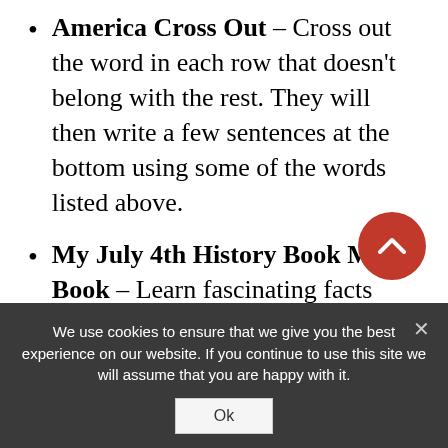America Cross Out – Cross out the word in each row that doesn't belong with the rest. They will then write a few sentences at the bottom using some of the words listed above.
My July 4th History Book Mini Book – Learn fascinating facts about July 4th and illustrate each page.
How To Become President – List five steps to becoming president.
Dear Mr. President –Write a letter to the president.
Four Great Things about America – Write
We use cookies to ensure that we give you the best experience on our website. If you continue to use this site we will assume that you are happy with it.